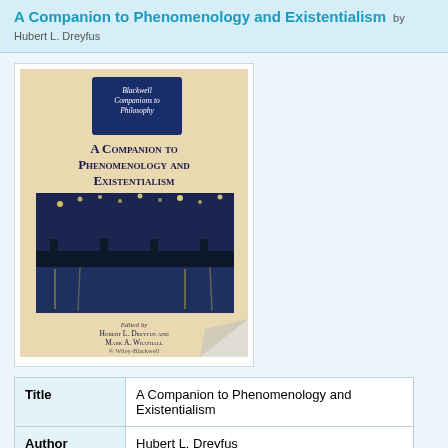A Companion to Phenomenology and Existentialism by Hubert L. Dreyfus
[Figure (photo): Book cover of 'A Companion to Phenomenology and Existentialism' edited by Hubert L. Dreyfus and Mark A. Wrathall, published by Wiley-Blackwell. Part of the Blackwell Companions to Philosophy series. Cover features Van Gogh's Starry Night over the Rhone painting.]
| Field | Value |
| --- | --- |
| Title | A Companion to Phenomenology and Existentialism |
| Author | Hubert L. Dreyfus |